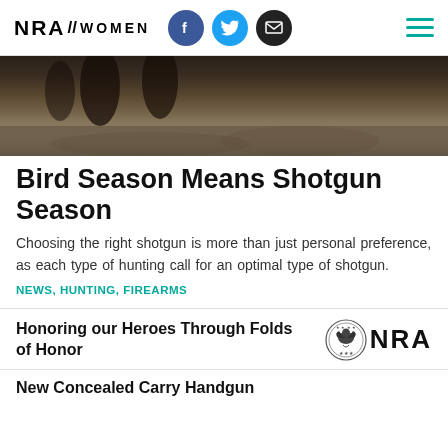NRA WOMEN
[Figure (photo): Dark outdoor hunting scene hero image with figures in the background on muddy/snowy terrain]
Bird Season Means Shotgun Season
Choosing the right shotgun is more than just personal preference, as each type of hunting call for an optimal type of shotgun.
NEWS, HUNTING, FIREARMS
Honoring our Heroes Through Folds of Honor
[Figure (logo): NRA eagle seal logo with NRA text]
New Concealed Carry Handgun